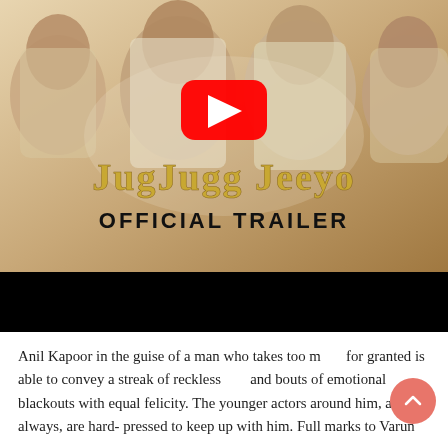[Figure (screenshot): Movie trailer thumbnail for 'JugJugg Jeeyo Official Trailer' showing four actors laughing and smiling, with a YouTube play button overlay. Gold stylized title text reads 'JUGJUGG JEEYO' and bold black text reads 'OFFICIAL TRAILER'. Below is a black video progress bar area.]
Anil Kapoor in the guise of a man who takes too much for granted is able to convey a streak of recklessness and bouts of emotional blackouts with equal felicity. The younger actors around him, as always, are hard-pressed to keep up with him. Full marks to Varun